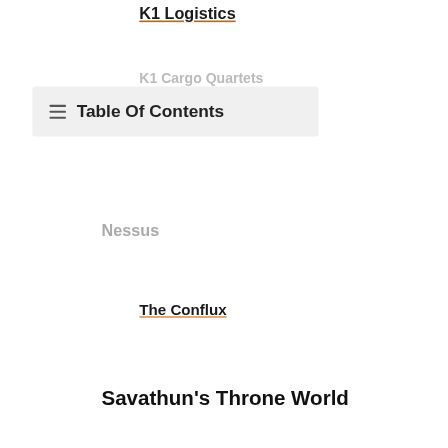K1 Logistics
K1 Cargo Quartets
[Figure (screenshot): Table of Contents overlay panel with hamburger icon and bold text 'Table Of Contents' on light grey background]
Nessus
The Conflux
Savathun's Throne World
Advertisement - izza
Metamorphosis
Sepulcher
Extraction
Raids